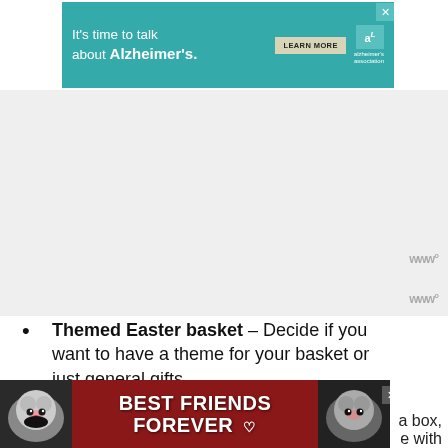[Figure (other): Alzheimer's Association advertisement banner: teal background with text 'It's time to talk about Alzheimer's.' and a 'LEARN MORE' button, with the Alzheimer's Association logo on the right.]
[Figure (other): Gray background area with Waze-style icon in top right corner showing 'www°']
Themed Easter basket – Decide if you want to have a theme for your basket or just general gifts
Start by planning your Easter basket fillers – once you know what is going in your basket, you can find a basket that is large enough to suit.
[Figure (other): Bottom advertisement banner with dark red background and two cat images on sides with text 'BEST FRIENDS FOREVER' in white block letters with heart symbols]
a box, with